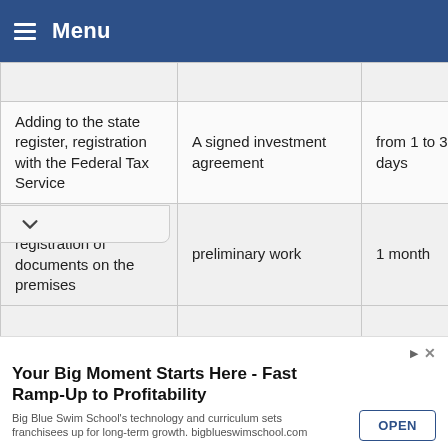Menu
|  |  |  |
| Adding to the state register, registration with the Federal Tax Service | A signed investment agreement | from 1 to 30 calendar days |
| choice of location, registration of documents on the premises | preliminary work | 1 month |